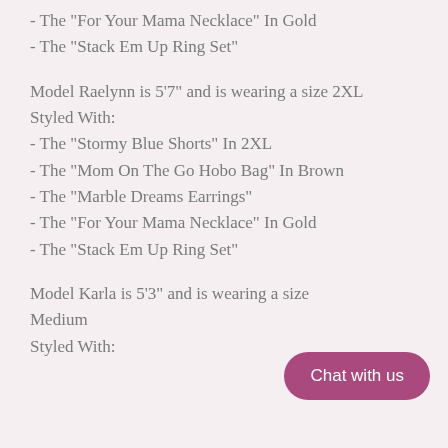- The "For Your Mama Necklace" In Gold
- The "Stack Em Up Ring Set"
Model Raelynn is 5'7" and is wearing a size 2XL
Styled With:
- The "Stormy Blue Shorts" In 2XL
- The "Mom On The Go Hobo Bag" In Brown
- The "Marble Dreams Earrings"
- The "For Your Mama Necklace" In Gold
- The "Stack Em Up Ring Set"
Model Karla is 5'3" and is wearing a size Medium
Styled With: